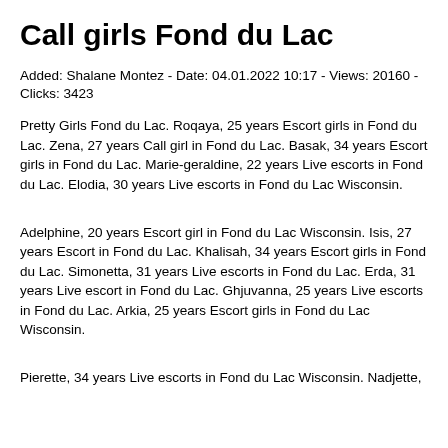Call girls Fond du Lac
Added: Shalane Montez - Date: 04.01.2022 10:17 - Views: 20160 - Clicks: 3423
Pretty Girls Fond du Lac. Roqaya, 25 years Escort girls in Fond du Lac. Zena, 27 years Call girl in Fond du Lac. Basak, 34 years Escort girls in Fond du Lac. Marie-geraldine, 22 years Live escorts in Fond du Lac. Elodia, 30 years Live escorts in Fond du Lac Wisconsin.
Adelphine, 20 years Escort girl in Fond du Lac Wisconsin. Isis, 27 years Escort in Fond du Lac. Khalisah, 34 years Escort girls in Fond du Lac. Simonetta, 31 years Live escorts in Fond du Lac. Erda, 31 years Live escort in Fond du Lac. Ghjuvanna, 25 years Live escorts in Fond du Lac. Arkia, 25 years Escort girls in Fond du Lac Wisconsin.
Pierette, 34 years Live escorts in Fond du Lac Wisconsin. Nadjette,